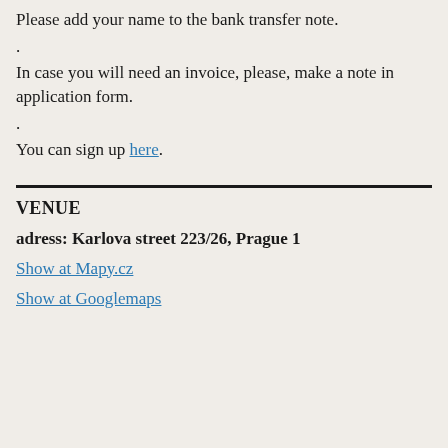Please add your name to the bank transfer note.
.
In case you will need an invoice, please, make a note in application form.
.
You can sign up here.
VENUE
adress: Karlova street 223/26, Prague 1
Show at Mapy.cz
Show at Googlemaps